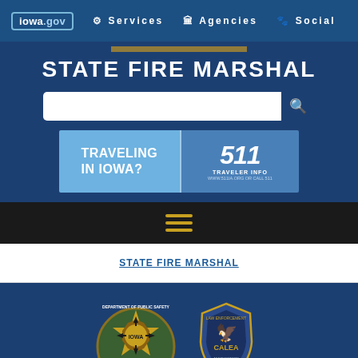iowa.gov  Services  Agencies  Social
STATE FIRE MARSHAL
[Figure (screenshot): 511 Iowa Traveler Info banner advertisement]
STATE FIRE MARSHAL
[Figure (logo): Iowa Department of Public Safety badge and Law Enforcement accreditation badge]